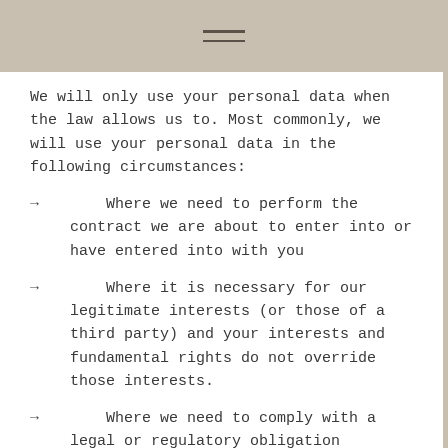We will only use your personal data when the law allows us to. Most commonly, we will use your personal data in the following circumstances:
→      Where we need to perform the contract we are about to enter into or have entered into with you
→      Where it is necessary for our legitimate interests (or those of a third party) and your interests and fundamental rights do not override those interests.
→      Where we need to comply with a legal or regulatory obligation
Generally we do not rely on consent as a legal basis for processing your personal data other than in relation to sending third party direct marketing communications to you via email or text message. You